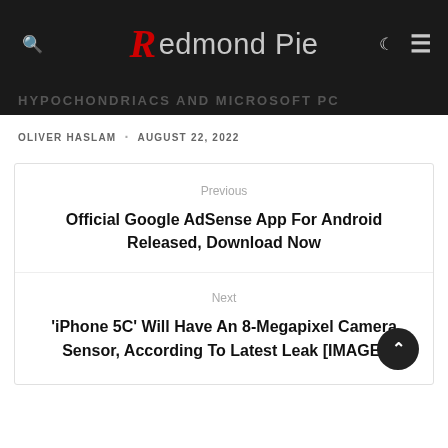Redmond Pie
HYPOCHONDRIACS AND MICROSOFT PC
OLIVER HASLAM · AUGUST 22, 2022
Previous
Official Google AdSense App For Android Released, Download Now
Next
'iPhone 5C' Will Have An 8-Megapixel Camera Sensor, According To Latest Leak [IMAGE]